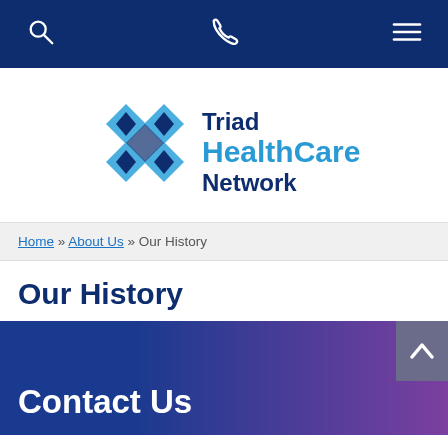Navigation bar with search, phone, and menu icons
[Figure (logo): Triad HealthCare Network logo with diamond/rhombus shapes in blue and cyan, and text 'Triad HealthCare Network']
Home » About Us » Our History
Our History
Contact Us